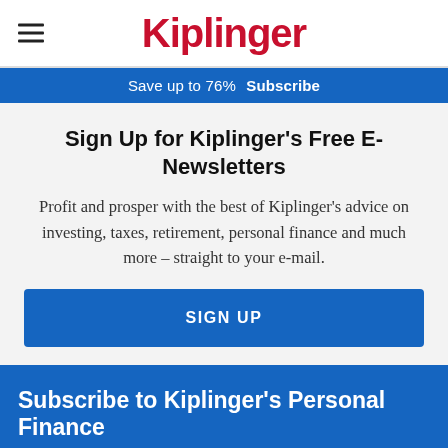Kiplinger
Save up to 76%  Subscribe
Sign Up for Kiplinger's Free E-Newsletters
Profit and prosper with the best of Kiplinger's advice on investing, taxes, retirement, personal finance and much more – straight to your e-mail.
SIGN UP
Subscribe to Kiplinger's Personal Finance